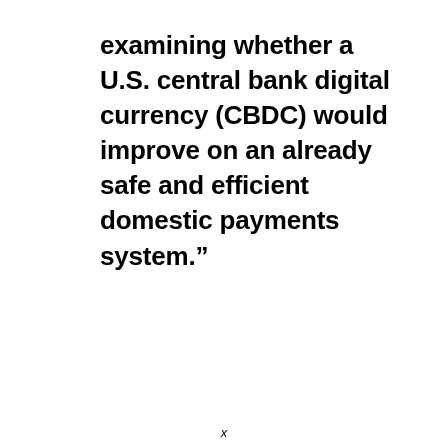examining whether a U.S. central bank digital currency (CBDC) would improve on an already safe and efficient domestic payments system."
x